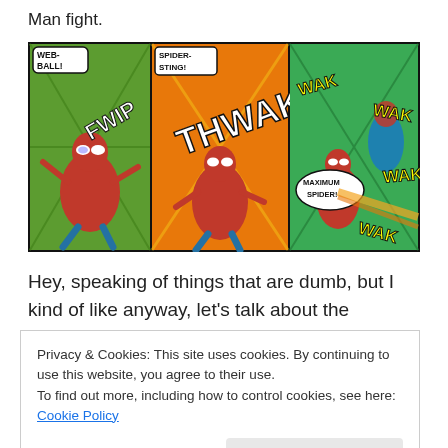Man fight.
[Figure (illustration): Three-panel comic strip showing Spider-Man in action. Panel 1: Spider-Man crouching, speech bubble says 'WEB-BALL!' with 'FWIP' sound effect. Panel 2: Spider-Man attacking, speech bubble says 'SPIDER-STING!' with 'THWAK' sound effect. Panel 3: Spider-Man using 'MAXIMUM SPIDER!' move with multiple 'WAK' sound effects hitting an opponent.]
Hey, speaking of things that are dumb, but I kind of like anyway, let's talk about the numbering convention at play
Privacy & Cookies: This site uses cookies. By continuing to use this website, you agree to their use.
To find out more, including how to control cookies, see here: Cookie Policy
Close and accept